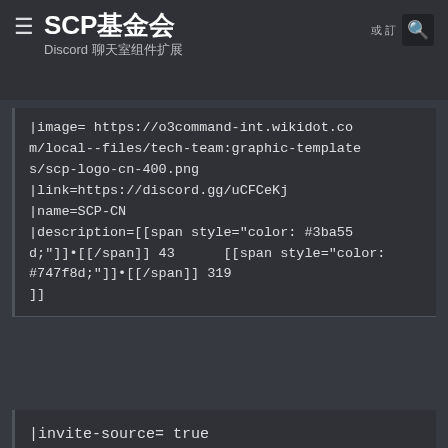SCP基金会 Discord 聊天室组件扩展
|image= https://o3command-int.wikidot.com/local--files/tech-team:graphic-templates/scp-logo-cn-400.png
|link=https://discord.gg/uCFCeKj
|name=SCP-CN
|description=[[span style="color: #3ba55d;"]]•[[/span]] 43      [[span style="color: #747f8d;"]]•[[/span]] 319
]]
|invite-source= true
？？？？？？／？？？？
740px
class    mob-show